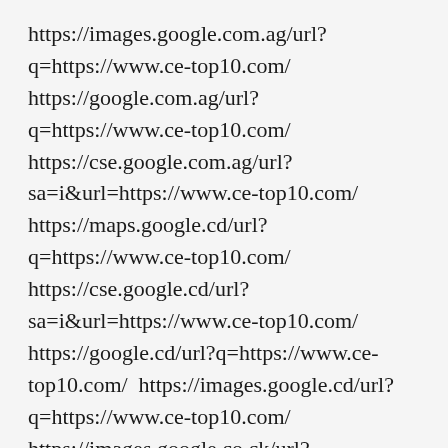https://images.google.com.ag/url?q=https://www.ce-top10.com/ https://google.com.ag/url?q=https://www.ce-top10.com/ https://cse.google.com.ag/url?sa=i&url=https://www.ce-top10.com/ https://maps.google.cd/url?q=https://www.ce-top10.com/ https://cse.google.cd/url?sa=i&url=https://www.ce-top10.com/ https://google.cd/url?q=https://www.ce-top10.com/ https://images.google.cd/url?q=https://www.ce-top10.com/ https://images.google.co.ck/url?